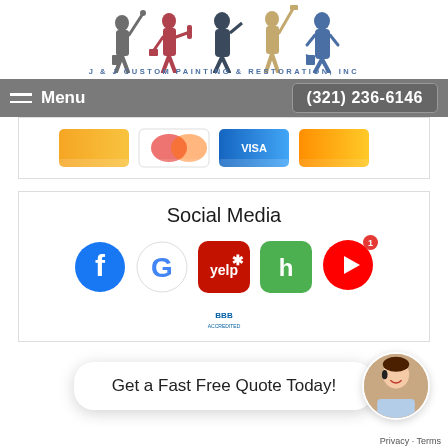[Figure (logo): J&J Custom Painting & Restoration, Inc logo with silhouette painters and text]
Menu   (321) 236-6146
[Figure (photo): Payment card logos strip (Visa, Mastercard, etc.)]
Social Media
[Figure (illustration): Social media icons: Facebook, Google, Yelp, Houzz, YouTube, BBB]
Get a Fast Free Quote Today!